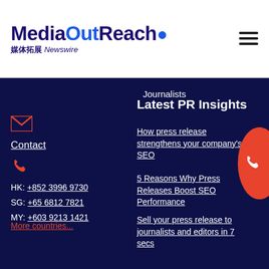MediaOutReach 媒体拓展 Newswire
Journalists
Latest PR Insights
Contact
HK: +852 3996 9730
SG: +65 6812 7821
MY: +603 9213 1421
More countries...
How press release strengthens your company's SEO
5 Reasons Why Press Releases Boost SEO Performance
Sell your press release to journalists and editors in 7 secs